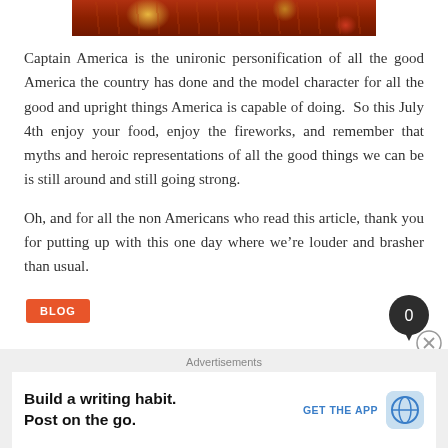[Figure (photo): Top portion of a comic book image showing superhero characters (Captain America / Spider-Man style) in red and gold tones, partially cropped at top of page]
Captain America is the unironic personification of all the good America the country has done and the model character for all the good and upright things America is capable of doing.  So this July 4th enjoy your food, enjoy the fireworks, and remember that myths and heroic representations of all the good things we can be is still around and still going strong.
Oh, and for all the non Americans who read this article, thank you for putting up with this one day where we're louder and brasher than usual.
BLOG
[Figure (infographic): Dark circular comment bubble with the number 0 inside and a pointer at the bottom, positioned at the right side]
Advertisements
Build a writing habit.
Post on the go.
GET THE APP